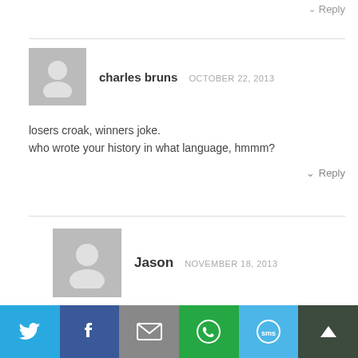↓ Reply
charles bruns   OCTOBER 22, 2013
losers croak, winners joke.
who wrote your history in what language, hmmm?
↓ Reply
Jason   NOVEMBER 18, 2013
That war is not over, think about that. Longest war in US History and it is not over, just being fought differently. Put that in your peace pipe and smoke it.
[Figure (infographic): Social share bar with Twitter, Facebook, Email, WhatsApp, SMS, and scroll-to-top buttons]